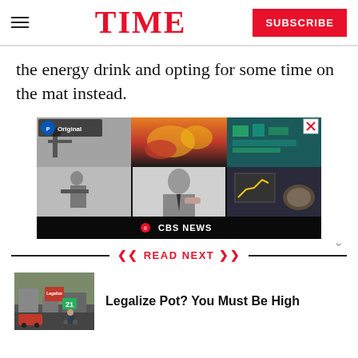TIME | SUBSCRIBE
the energy drink and opting for some time on the mat instead.
[Figure (photo): CBS News advertisement banner featuring a collage of images including black and white film stills, a man in a suit, fire/explosion imagery, a yellow chart, and teal-colored items. Paramount Original logo in top left. CBS NEWS label at bottom.]
READ NEXT
[Figure (photo): Thumbnail image of a street scene with a person holding a 'Legalize' sign]
Legalize Pot? You Must Be High